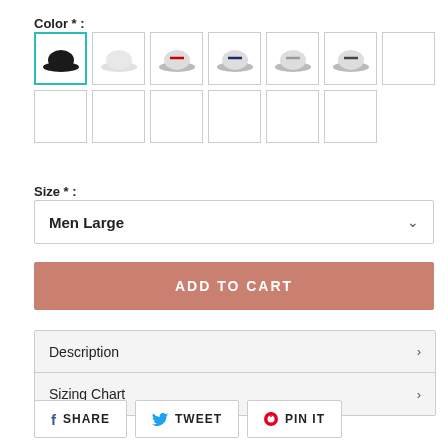Color * :
[Figure (other): Color swatch selector grid with 13 swatches. First swatch selected (black hat), others show various hat colors: white, red, navy, gray, dark gray, and blank swatches in a 7+6 grid.]
Size * :
[Figure (other): Dropdown selector showing 'Men Large' with chevron arrow]
[Figure (other): ADD TO CART button in dusty rose/salmon color]
[Figure (other): Accordion with Description and Sizing Chart rows]
[Figure (other): Social sharing buttons: SHARE, TWEET, PIN IT]